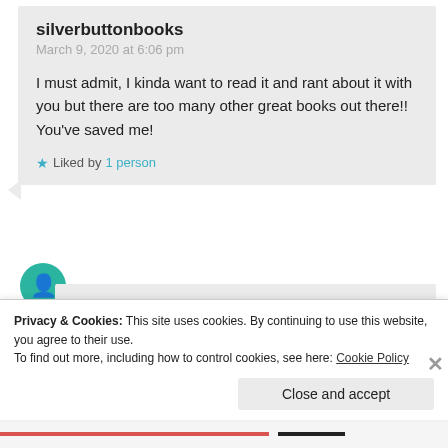silverbuttonbooks
March 9, 2020 at 6:06 pm
I must admit, I kinda want to read it and rant about it with you but there are too many other great books out there!! You've saved me!
★ Liked by 1 person
whatsnonfiction
March 30, 2020 at 11:36 am
Privacy & Cookies: This site uses cookies. By continuing to use this website, you agree to their use.
To find out more, including how to control cookies, see here: Cookie Policy
Close and accept